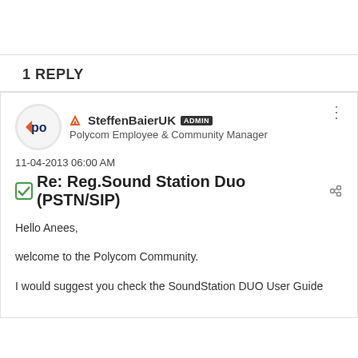1 REPLY
SteffenBaierUK ADMIN
Polycom Employee & Community Manager
11-04-2013 06:00 AM
Re: Reg.Sound Station Duo (PSTN/SIP)
Hello Anees,

welcome to the Polycom Community.

I would suggest you check the SoundStation DUO User Guide